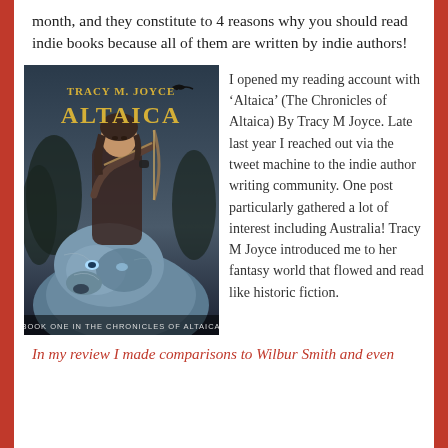month, and they constitute to 4 reasons why you should read indie books because all of them are written by indie authors!
[Figure (photo): Book cover of 'Altaica' by Tracy M. Joyce — Book One in The Chronicles of Altaica. Shows a young woman drawing a bow against a dark forest background, with a large wolf in the foreground and a bird overhead. Title in gold letters.]
I opened my reading account with ‘Altaica’ (The Chronicles of Altaica) By Tracy M Joyce. Late last year I reached out via the tweet machine to the indie author writing community. One post particularly gathered a lot of interest including Australia! Tracy M Joyce introduced me to her fantasy world that flowed and read like historic fiction.
In my review I made comparisons to Wilbur Smith and even